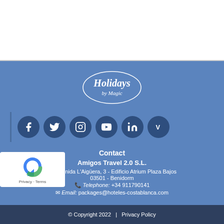[Figure (logo): Holidays by Magic logo in white text on blue oval background]
[Figure (infographic): Social media icons row: Facebook, Twitter, Instagram, YouTube, LinkedIn, Vimeo - white icons on dark blue circles]
Contact
Amigos Travel 2.0 S.L.
Avenida L'Aigüera, 3 - Edificio Atrium Plaza Bajos 03501 - Benidorm
Telephone: +34 911790141
Email: packages@hoteles-costablanca.com
© Copyright 2022  |  Privacy Policy